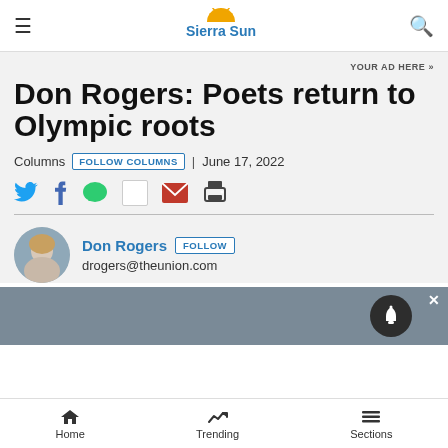Sierra Sun
YOUR AD HERE »
Don Rogers: Poets return to Olympic roots
Columns FOLLOW COLUMNS | June 17, 2022
Don Rogers FOLLOW drogers@theunion.com